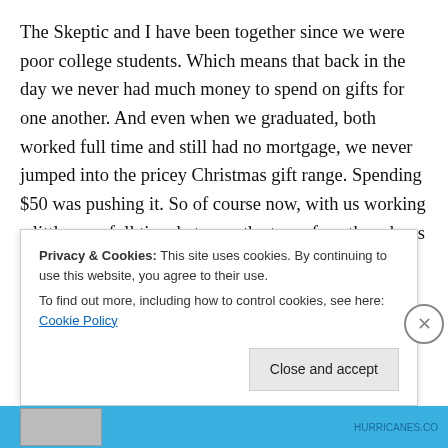The Skeptic and I have been together since we were poor college students. Which means that back in the day we never had much money to spend on gifts for one another. And even when we graduated, both worked full time and still had no mortgage, we never jumped into the pricey Christmas gift range. Spending $50 was pushing it. So of course now, with us working a little over full time between the two of us, three boys and a mortgage, this Christmas was planned to be a thrifty one. So when I got a little hank
Privacy & Cookies: This site uses cookies. By continuing to use this website, you agree to their use.
To find out more, including how to control cookies, see here: Cookie Policy
Close and accept